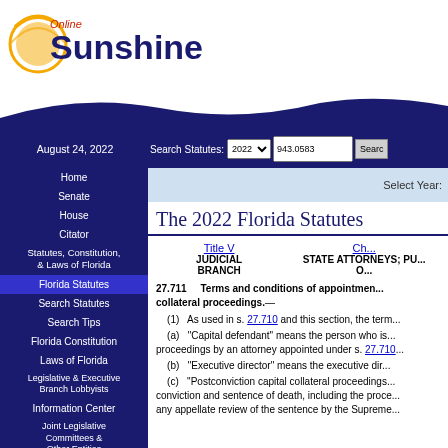[Figure (logo): Online Sunshine logo with sun graphic and blue text]
August 24, 2022 | Search Statutes: 2022 | 943.0583 | Search
Home
Senate
House
Citator
Statutes, Constitution, & Laws of Florida
Florida Statutes
Search Statutes
Search Tips
Florida Constitution
Laws of Florida
Legislative & Executive Branch Lobbyists
Information Center
Joint Legislative Committees & Other Entities
Historical Committees
Florida Government Efficiency Task Force
Legislative Employment
Legistore
The 2022 Florida Statutes
Title V JUDICIAL BRANCH | Ch... STATE ATTORNEYS; PU... O...
27.711    Terms and conditions of appointment... collateral proceedings.—
(1)   As used in s. 27.710 and this section, the term...
(a)   "Capital defendant" means the person who is... proceedings by an attorney appointed under s. 27.710...
(b)   "Executive director" means the executive dir...
(c)   "Postconviction capital collateral proceedings... conviction and sentence of death, including the proce... any appellate review of the sentence by the Supreme...